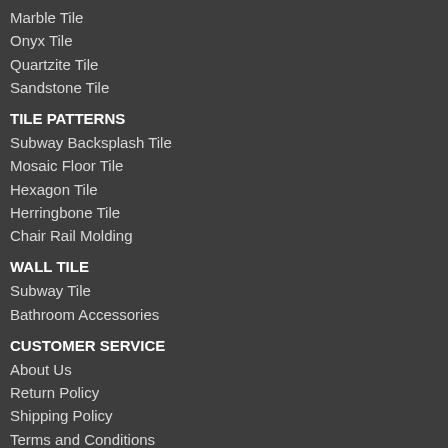Marble Tile
Onyx Tile
Quartzite Tile
Sandstone Tile
TILE PATTERNS
Subway Backsplash Tile
Mosaic Floor Tile
Hexagon Tile
Herringbone Tile
Chair Rail Molding
WALL TILE
Subway Tile
Bathroom Accessories
CUSTOMER SERVICE
About Us
Return Policy
Shipping Policy
Terms and Conditions
Contact Us